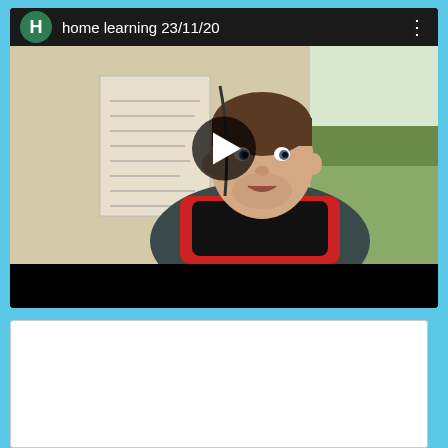[Figure (screenshot): YouTube-style video card showing a teacher/presenter sitting in a red gaming chair in front of a whiteboard. Video title bar shows 'home learning 23/11/20' with a green H avatar icon. A play button overlay appears on the thumbnail. Below is a black letterbox bar. Below the video card is a white content area (partially visible).]